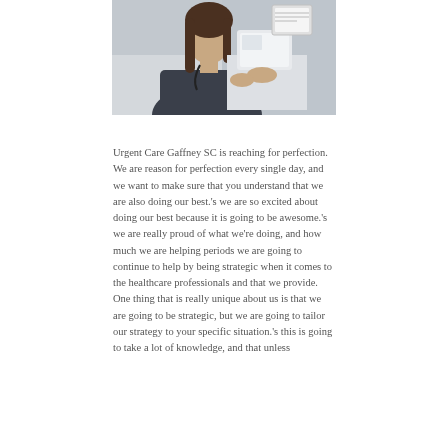[Figure (photo): A female healthcare professional in dark scrubs with a stethoscope, seated at a desk with a computer/tablet, photographed in a clinical setting.]
Urgent Care Gaffney SC is reaching for perfection. We are reason for perfection every single day, and we want to make sure that you understand that we are also doing our best.'s we are so excited about doing our best because it is going to be awesome.'s we are really proud of what we're doing, and how much we are helping periods we are going to continue to help by being strategic when it comes to the healthcare professionals and that we provide. One thing that is really unique about us is that we are going to be strategic, but we are going to tailor our strategy to your specific situation.'s this is going to take a lot of knowledge, and that unless